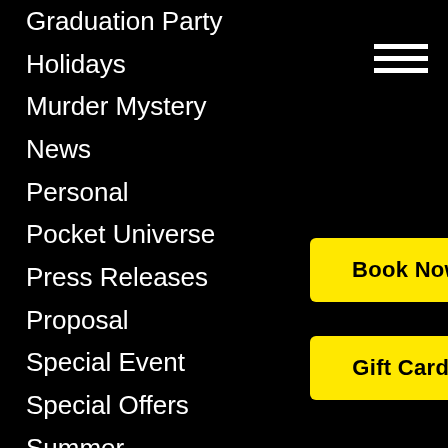Graduation Party
Holidays
Murder Mystery
News
Personal
Pocket Universe
Press Releases
Proposal
Special Event
Special Offers
Summer
Team Building
teen birthday party
teen birthday party chicago
teen birthday party ideas
teen birthday party cool
teen birthday party
[Figure (screenshot): Navigation menu hamburger icon (three white horizontal lines)]
Book Now
Gift Cards